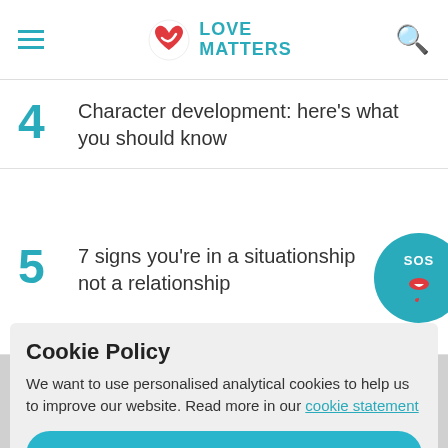Love Matters
4   Character development: here’s what you should know
5   7 signs you’re in a situationship not a relationship
6   [greyed out] about emotional cheating
Cookie Policy
We want to use personalised analytical cookies to help us to improve our website. Read more in our cookie statement
YES
MY STORY